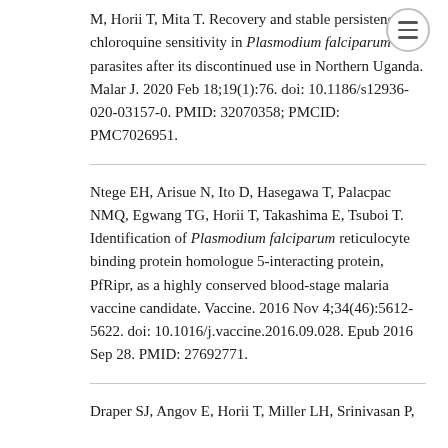M, Horii T, Mita T. Recovery and stable persistence of chloroquine sensitivity in Plasmodium falciparum parasites after its discontinued use in Northern Uganda. Malar J. 2020 Feb 18;19(1):76. doi: 10.1186/s12936-020-03157-0. PMID: 32070358; PMCID: PMC7026951.
Ntege EH, Arisue N, Ito D, Hasegawa T, Palacpac NMQ, Egwang TG, Horii T, Takashima E, Tsuboi T. Identification of Plasmodium falciparum reticulocyte binding protein homologue 5-interacting protein, PfRipr, as a highly conserved blood-stage malaria vaccine candidate. Vaccine. 2016 Nov 4;34(46):5612-5622. doi: 10.1016/j.vaccine.2016.09.028. Epub 2016 Sep 28. PMID: 27692771.
Draper SJ, Angov E, Horii T, Miller LH, Srinivasan P,